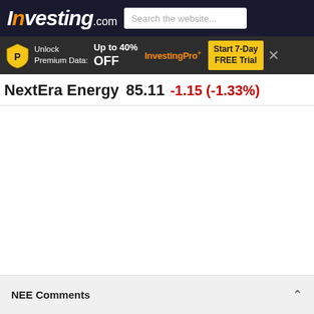Investing.com — Search the website...
[Figure (screenshot): Investing.com promotional banner: Unlock Premium Data: Up to 40% OFF InvestingPro+ Start 7-Day FREE Trial]
NextEra Energy  85.11  -1.15 (-1.33%)
NEE Comments